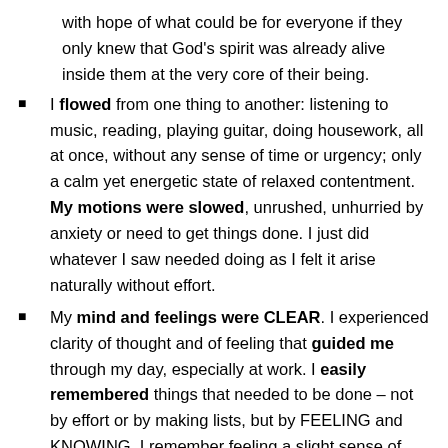with hope of what could be for everyone if they only knew that God's spirit was already alive inside them at the very core of their being.
I flowed from one thing to another: listening to music, reading, playing guitar, doing housework, all at once, without any sense of time or urgency; only a calm yet energetic state of relaxed contentment. My motions were slowed, unrushed, unhurried by anxiety or need to get things done. I just did whatever I saw needed doing as I felt it arise naturally without effort.
My mind and feelings were CLEAR. I experienced clarity of thought and of feeling that guided me through my day, especially at work. I easily remembered things that needed to be done – not by effort or by making lists, but by FEELING and KNOWING. I remember feeling a slight sense of